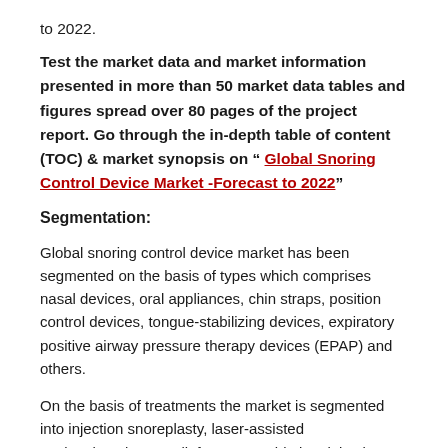to 2022.
Test the market data and market information presented in more than 50 market data tables and figures spread over 80 pages of the project report. Go through the in-depth table of content (TOC) & market synopsis on “ Global Snoring Control Device Market -Forecast to 2022”
Segmentation:
Global snoring control device market has been segmented on the basis of types which comprises nasal devices, oral appliances, chin straps, position control devices, tongue-stabilizing devices, expiratory positive airway pressure therapy devices (EPAP) and others.
On the basis of treatments the market is segmented into injection snoreplasty, laser-assisted uvulopalatoplasty, radiofrequency ablation, injection snoreplasty, palatal